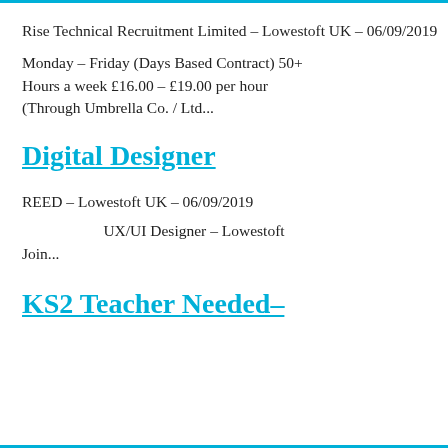Rise Technical Recruitment Limited – Lowestoft UK – 06/09/2019
Monday – Friday (Days Based Contract) 50+ Hours a week £16.00 – £19.00 per hour (Through Umbrella Co. / Ltd...
Digital Designer
REED – Lowestoft UK – 06/09/2019
UX/UI Designer – Lowestoft Join...
KS2 Teacher Needed–